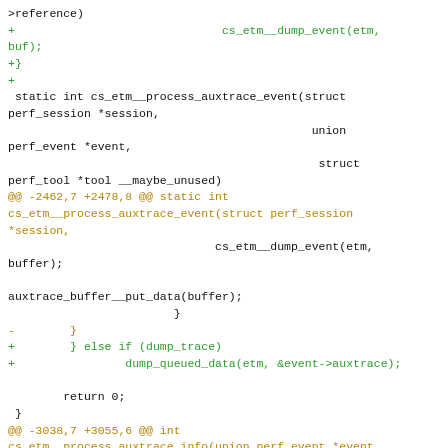[Figure (screenshot): A code diff snippet showing changes to cs_etm process auxtrace event and related functions in a C source file. Green lines are additions, orange/dark lines are diff headers and removals. The code involves cs_etm__dump_event, auxtrace_buffer__put_data, dump_queued_data, and cs_etm__process_auxtrace_info functions.]